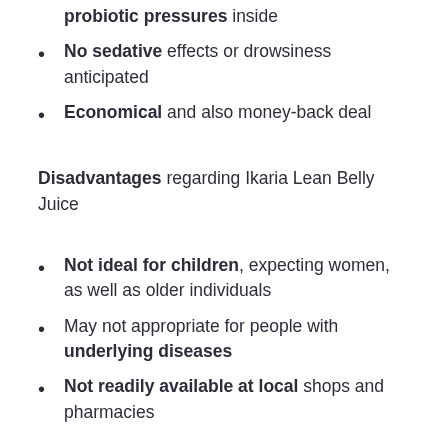probiotic pressures inside
No sedative effects or drowsiness anticipated
Economical and also money-back deal
Disadvantages regarding Ikaria Lean Belly Juice
Not ideal for children, expecting women, as well as older individuals
May not appropriate for people with underlying diseases
Not readily available at local shops and pharmacies
Where To Purchase Ikaria